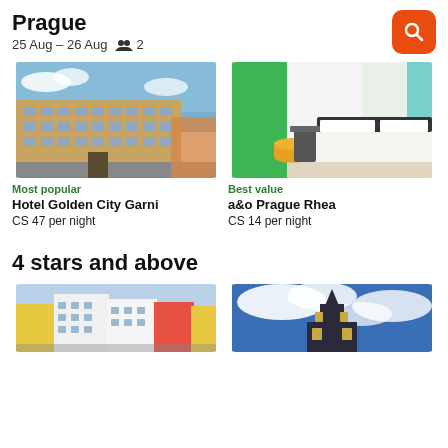Prague
25 Aug – 26 Aug  2
[Figure (photo): Exterior photo of Hotel Golden City Garni, a yellow historic building in Prague]
Most popular
Hotel Golden City Garni
CS 47 per night
[Figure (photo): Interior photo of a&o Prague Rhea hotel room with green curtains and white bed]
Best value
a&o Prague Rhea
CS 14 per night
4 stars and above
[Figure (photo): Exterior photo of a colorful hotel building with white, red, and yellow facades]
[Figure (photo): Photo of a church or historic building with blue cloudy sky]